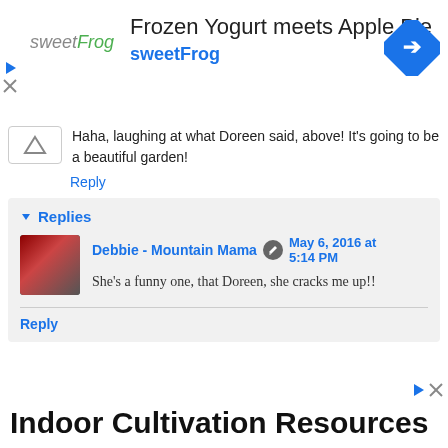[Figure (screenshot): SweetFrog advertisement banner with logo, text 'Frozen Yogurt meets Apple Pie', 'sweetFrog' subtitle, and a blue navigation icon on the right]
Haha, laughing at what Doreen said, above! It's going to be a beautiful garden!
Reply
Replies
Debbie - Mountain Mama  May 6, 2016 at 5:14 PM
She's a funny one, that Doreen, she cracks me up!!
Reply
Indoor Cultivation Resources